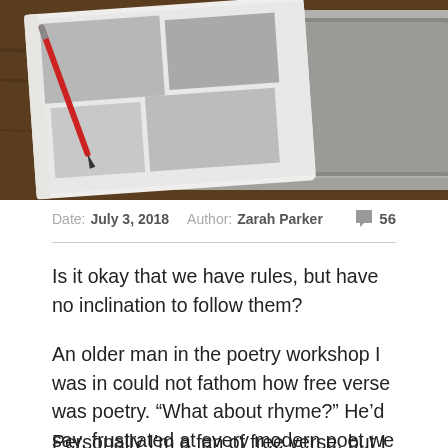[Figure (photo): Overhead photo of a magazine/sketchbook with black and white images and a red pen on top, resting on a laptop on a wooden desk.]
Date: July 3, 2018   Author: Zarah Parker   56
Is it okay that we have rules, but have no inclination to follow them?
An older man in the poetry workshop I was in could not fathom how free verse was poetry. "What about rhyme?" He'd say, frustrated at every modern poet we read.
Personally I'm a fan of free verse, but I have a high